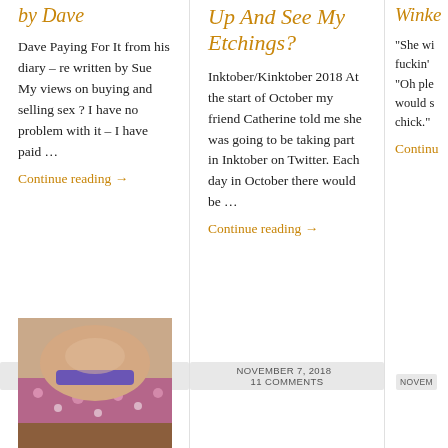by Dave
Dave Paying For It from his diary – re written by Sue My views on buying and selling sex ? I have no problem with it – I have paid …
Continue reading →
NOVEMBER 9, 2018   4 COMMENTS
[Figure (photo): Close-up photo of a person's arm with a purple/blue band bracelet, wearing a floral outfit, resting on what appears to a brown leather surface.]
Up And See My Etchings?
Inktober/Kinktober 2018 At the start of October my friend Catherine told me she was going to be taking part in Inktober on Twitter. Each day in October there would be …
Continue reading →
NOVEMBER 7, 2018   11 COMMENTS
Winke
"She wi fuckin' "Oh ple would s chick."
Continu
NOVEM